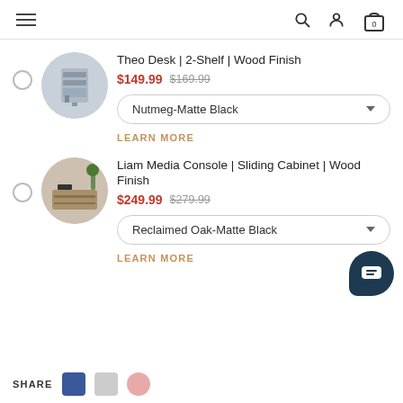Navigation header with hamburger menu, search, user, and cart icons
Theo Desk | 2-Shelf | Wood Finish
$149.99 $169.99
Nutmeg-Matte Black
LEARN MORE
Liam Media Console | Sliding Cabinet | Wood Finish
$249.99 $279.99
Reclaimed Oak-Matte Black
LEARN MORE
SHARE